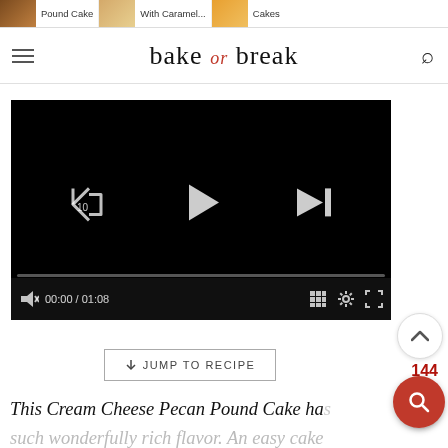bake or break
[Figure (screenshot): Video player showing a dark screen with playback controls: rewind 10s button, play button, skip forward button, progress bar at 00:00/01:08, volume, grid, settings, and fullscreen icons.]
↓ JUMP TO RECIPE
144
This Cream Cheese Pecan Pound Cake has such wonderfully rich flavor. An easy cake recipe that's perfect for breakfast or